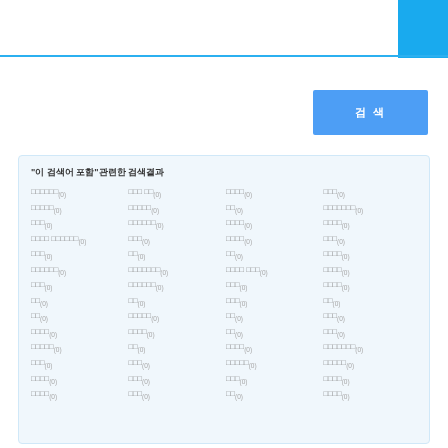검색 버튼
"이 검색어 포함"관련한 검색 결과
□□□□□□(0)
□□□ □□(0)
□□□□(0)
□□□(0)
□□□□□(0)
□□□□□(0)
□□(0)
□□□□□□□(0)
□□□(0)
□□□□□□(0)
□□□□(0)
□□□□(0)
□□□□ □□□□□□(0)
□□□(0)
□□□□(0)
□□□(0)
□□□(0)
□□(0)
□□(0)
□□□□(0)
□□□□□□(0)
□□□□□□□(0)
□□□□ □□□(0)
□□□□(0)
□□□(0)
□□□□□□(0)
□□□(0)
□□□□(0)
□□(0)
□□(0)
□□□(0)
□□(0)
□□(0)
□□□□□(0)
□□(0)
□□□(0)
□□□□(0)
□□□□(0)
□□(0)
□□□(0)
□□□□□(0)
□□(0)
□□□□(0)
□□□□□□□(0)
□□□(0)
□□□(0)
□□□□□(0)
□□□□□(0)
□□□□(0)
□□□(0)
□□□(0)
□□□□(0)